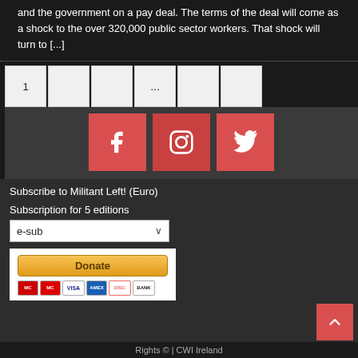and the government on a pay deal. The terms of the deal will come as a shock to the over 320,000 public sector workers. That shock will turn to [...]
[Figure (infographic): Pagination controls showing page 1 and additional numbered page buttons with ellipsis, followed by social media icons for Facebook, Instagram, and Twitter in red squares]
Subscribe to Militant Left! (Euro)
Subscription for 5 editions
[Figure (infographic): Dropdown selector showing 'e-sub' option with chevron, and a PayPal donate button with payment method icons below (Mastercard, Mastercard, Visa, Amex, Discover, Bank)]
Rights © | CWI Ireland